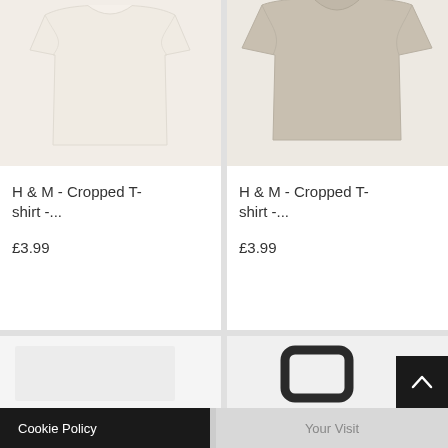[Figure (photo): H&M cropped white/cream t-shirt on white background, top portion visible]
H & M - Cropped T-shirt -...
£3.99
[Figure (photo): H&M cropped beige/taupe t-shirt on white background, top portion visible]
H & M - Cropped T-shirt -...
£3.99
[Figure (photo): Light gray item, partially visible]
[Figure (photo): Dark bag handle visible on light background]
Cookie Policy
Your Visit